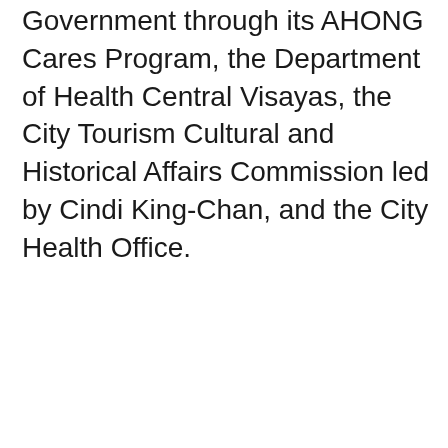Government through its AHONG Cares Program, the Department of Health Central Visayas, the City Tourism Cultural and Historical Affairs Commission led by Cindi King-Chan, and the City Health Office.